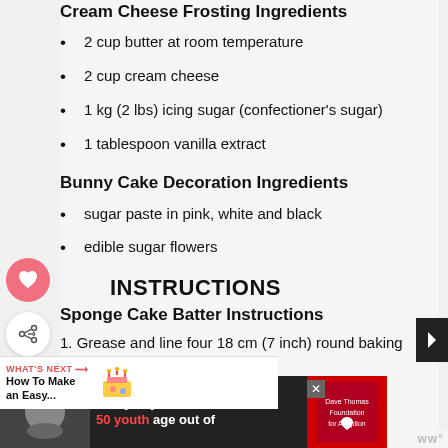Cream Cheese Frosting Ingredients
2 cup butter at room temperature
2 cup cream cheese
1 kg (2 lbs) icing sugar (confectioner's sugar)
1 tablespoon vanilla extract
Bunny Cake Decoration Ingredients
sugar paste in pink, white and black
edible sugar flowers
INSTRUCTIONS
Sponge Cake Batter Instructions
1. Grease and line four 18 cm (7 inch) round baking pans with parchment paper.